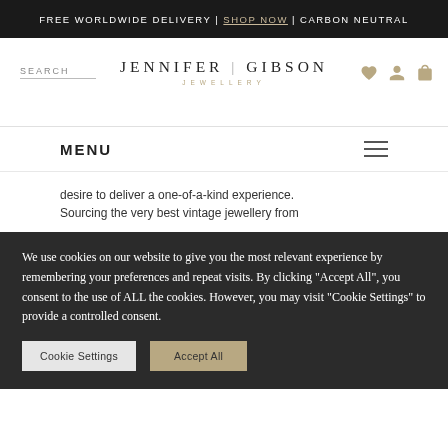FREE WORLDWIDE DELIVERY | SHOP NOW | CARBON NEUTRAL
JENNIFER GIBSON JEWELLERY
SEARCH
MENU
desire to deliver a one-of-a-kind experience. Sourcing the very best vintage jewellery from
We use cookies on our website to give you the most relevant experience by remembering your preferences and repeat visits. By clicking "Accept All", you consent to the use of ALL the cookies. However, you may visit "Cookie Settings" to provide a controlled consent.
Cookie Settings   Accept All